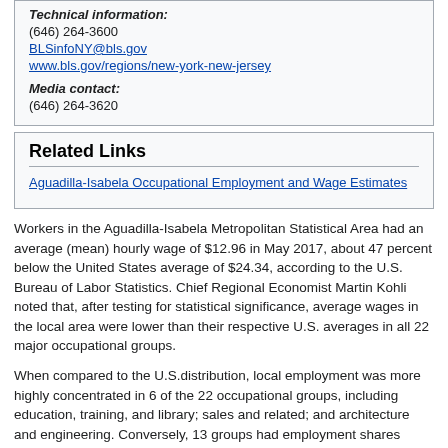Technical information:
(646) 264-3600
BLSinfoNY@bls.gov
www.bls.gov/regions/new-york-new-jersey
Media contact:
(646) 264-3620
Related Links
Aguadilla-Isabela Occupational Employment and Wage Estimates
Workers in the Aguadilla-Isabela Metropolitan Statistical Area had an average (mean) hourly wage of $12.96 in May 2017, about 47 percent below the United States average of $24.34, according to the U.S. Bureau of Labor Statistics. Chief Regional Economist Martin Kohli noted that, after testing for statistical significance, average wages in the local area were lower than their respective U.S. averages in all 22 major occupational groups.
When compared to the U.S.distribution, local employment was more highly concentrated in 6 of the 22 occupational groups, including education, training, and library; sales and related; and architecture and engineering. Conversely, 13 groups had employment shares significantly below their mainland representation, including transportation and